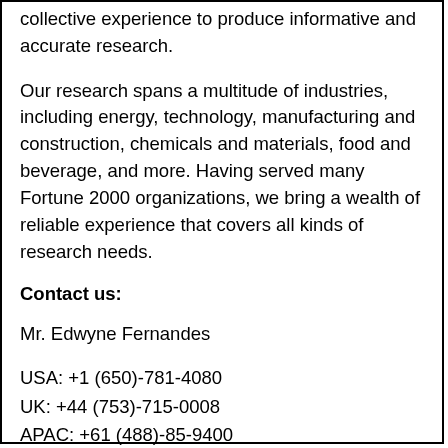collective experience to produce informative and accurate research.
Our research spans a multitude of industries, including energy, technology, manufacturing and construction, chemicals and materials, food and beverage, and more. Having served many Fortune 2000 organizations, we bring a wealth of reliable experience that covers all kinds of research needs.
Contact us:
Mr. Edwyne Fernandes
USA: +1 (650)-781-4080
UK: +44 (753)-715-0008
APAC: +61 (488)-85-9400
US toll free: +1 (800)-792-1768